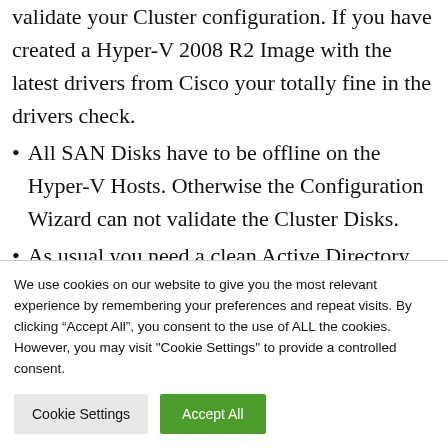validate your Cluster configuration. If you have created a Hyper-V 2008 R2 Image with the latest drivers from Cisco your totally fine in the drivers check.
All SAN Disks have to be offline on the Hyper-V Hosts. Otherwise the Configuration Wizard can not validate the Cluster Disks.
As usual you need a clean Active Directory and a clean and working DNS Zone.
We use cookies on our website to give you the most relevant experience by remembering your preferences and repeat visits. By clicking “Accept All”, you consent to the use of ALL the cookies. However, you may visit "Cookie Settings" to provide a controlled consent.